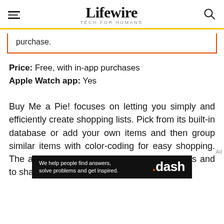Lifewire — TECH FOR HUMANS
purchase.
Price: Free, with in-app purchases
Apple Watch app: Yes
Buy Me a Pie! focuses on letting you simply and efficiently create shopping lists. Pick from its built-in database or add your own items and then group similar items with color-coding for easy shopping. The app makes it easy to create multiple lists and to share lists via email or text
[Figure (screenshot): Dash advertisement banner: 'We help people find answers, solve problems and get inspired.' with .dash logo]